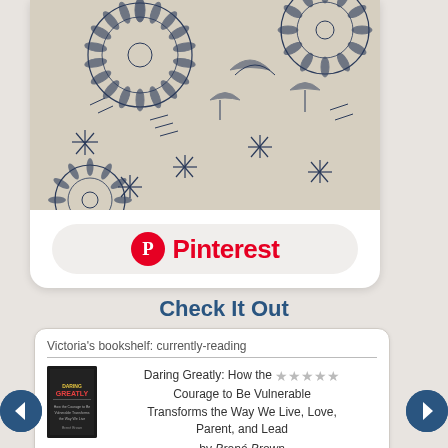[Figure (photo): Close-up photo of fabric with blue floral/botanical pattern on cream/beige background, showing sunflower-like circles and leaf motifs]
[Figure (logo): Pinterest logo button: round Pinterest P icon in red next to bold red 'Pinterest' text on a light gray rounded rectangle button]
Check It Out
Victoria's bookshelf: currently-reading
[Figure (photo): Book cover of 'Daring Greatly' by Brené Brown — dark cover with colorful title text]
Daring Greatly: How the Courage to Be Vulnerable Transforms the Way We Live, Love, Parent, and Lead by Brené Brown